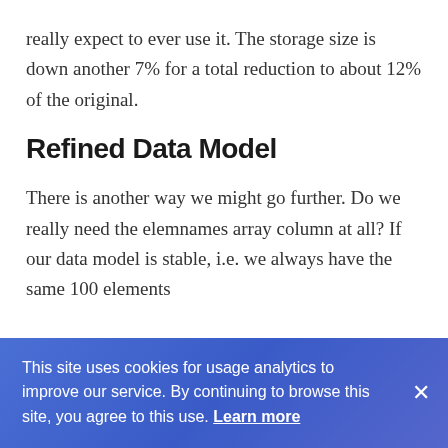really expect to ever use it. The storage size is down another 7% for a total reduction to about 12% of the original.
Refined Data Model
There is another way we might go further. Do we really need the elemnames array column at all? If our data model is stable, i.e. we always have the same 100 elements
This site uses cookies for usage analytics to improve our service. By continuing to browse this site, you agree to this use. Learn more